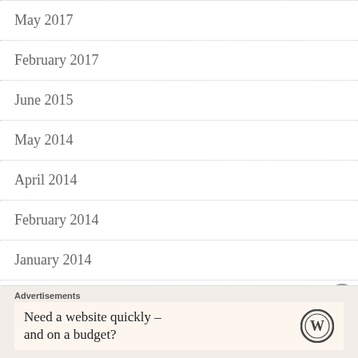May 2017
February 2017
June 2015
May 2014
April 2014
February 2014
January 2014
December 2013
Advertisements
Need a website quickly – and on a budget?